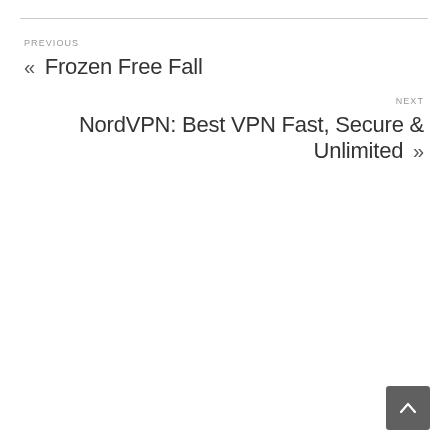PREVIOUS
« Frozen Free Fall
NEXT
NordVPN: Best VPN Fast, Secure & Unlimited »